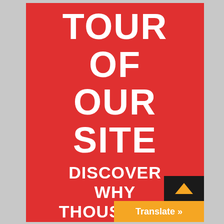TOUR OF OUR SITE
DISCOVER WHY THOUSANDS HAVE TRUSTED IPA FOR OVER 35
[Figure (other): Translate button overlay with orange background and upward arrow, showing 'Translate »' text]